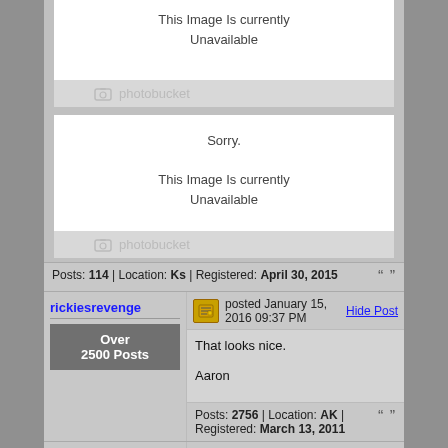[Figure (screenshot): Photobucket unavailable image placeholder - first instance, showing 'This Image Is currently Unavailable' with photobucket logo]
[Figure (screenshot): Photobucket unavailable image placeholder - second instance, showing 'Sorry. This Image Is currently Unavailable' with photobucket logo]
Posts: 114 | Location: Ks | Registered: April 30, 2015
rickiesrevenge posted January 15, 2016 09:37 PM Hide Post
Over 2500 Posts
That looks nice.

Aaron
Posts: 2756 | Location: AK | Registered: March 13, 2011
ole95 posted January 15, 2016 10:51 PM Hide Post